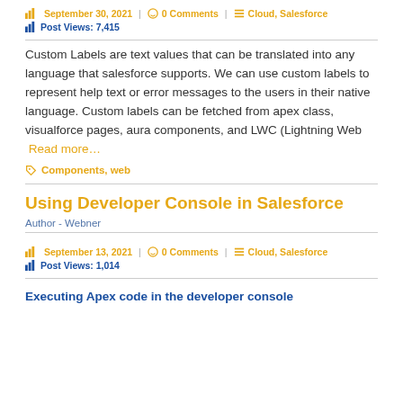September 30, 2021 | 0 Comments | Cloud, Salesforce
Post Views: 7,415
Custom Labels are text values that can be translated into any language that salesforce supports. We can use custom labels to represent help text or error messages to the users in their native language. Custom labels can be fetched from apex class, visualforce pages, aura components, and LWC (Lightning Web  Read more…
Components, web
Using Developer Console in Salesforce
Author - Webner
September 13, 2021 | 0 Comments | Cloud, Salesforce
Post Views: 1,014
Executing Apex code in the developer console